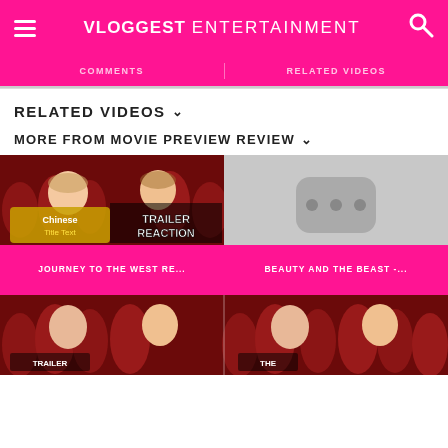VLOGGEST ENTERTAINMENT
COMMENTS    RELATED VIDEOS
RELATED VIDEOS ∨
MORE FROM MOVIE PREVIEW REVIEW ∨
[Figure (screenshot): Video thumbnail for Journey to the West trailer reaction - two men in cinema seats with overlay text TRAILER REACTION]
JOURNEY TO THE WEST RE...
[Figure (screenshot): Gray placeholder YouTube icon thumbnail for Beauty and the Beast video]
BEAUTY AND THE BEAST -...
[Figure (screenshot): Bottom row thumbnail showing two men in cinema seats reacting]